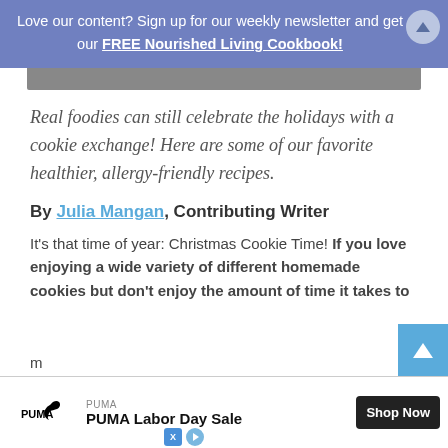Love our content? Sign up for our weekly newsletter and get our FREE Nourished Living Cookbook!
Real foodies can still celebrate the holidays with a cookie exchange! Here are some of our favorite healthier, allergy-friendly recipes.
By Julia Mangan, Contributing Writer
It’s that time of year: Christmas Cookie Time! If you love enjoying a wide variety of different homemade cookies but don’t enjoy the amount of time it takes to m...
[Figure (infographic): PUMA Labor Day Sale advertisement banner with PUMA logo, Shop Now button, and ad control icons]